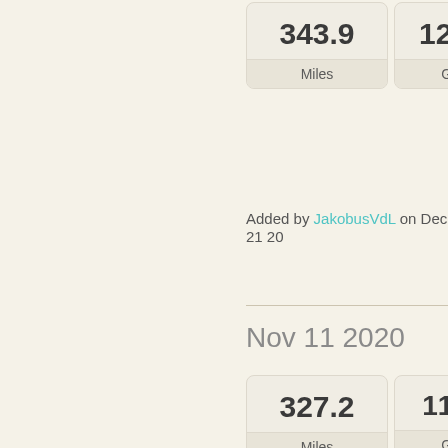| Value | Unit |
| --- | --- |
| 343.9 | Miles |
| 12.707 | Gallons |
Added by JakobusVdL on Dec 21 20...
Nov 11 2020
| Value | Unit |
| --- | --- |
| 327.2 | Miles |
| 11.723 | Gallons |
Added by JakobusVdL on Nov 12 20...
Oct 13 2020
| Value | Unit |
| --- | --- |
| 316.3 | Miles |
| 12.226 | Gallons |